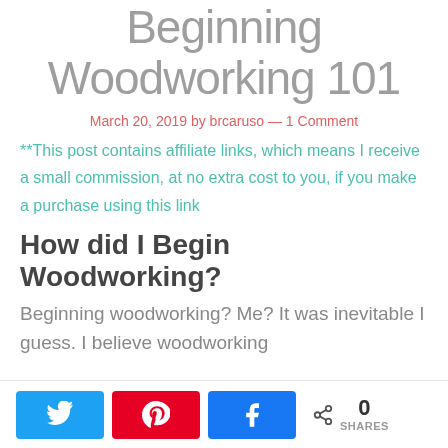Beginning Woodworking 101
March 20, 2019 by brcaruso — 1 Comment
**This post contains affiliate links, which means I receive a small commission, at no extra cost to you, if you make a purchase using this link
How did I Begin Woodworking?
Beginning woodworking? Me? It was inevitable I guess. I believe woodworking
0 SHARES